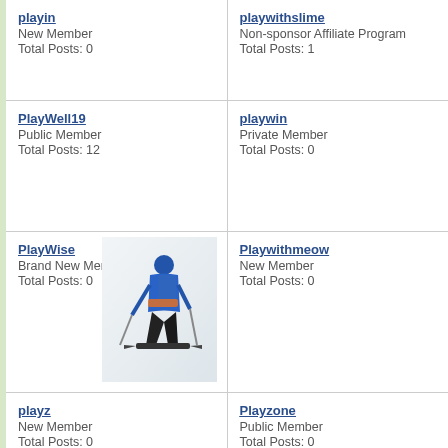playin
New Member
Total Posts: 0
playwithslime
Non-sponsor Affiliate Program
Total Posts: 1
PlayWell19
Public Member
Total Posts: 12
playwin
Private Member
Total Posts: 0
PlayWise
Brand New Member
Total Posts: 0
[Figure (photo): A skier in blue jacket and dark pants skiing on a snowy slope, viewed from behind/side.]
Playwithmeow
New Member
Total Posts: 0
playz
New Member
Total Posts: 0
Playzone
Public Member
Total Posts: 0